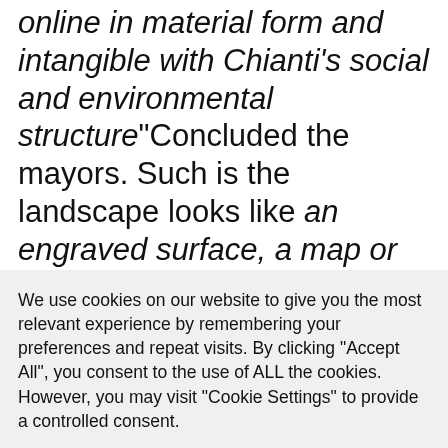online in material form and intangible with Chianti's social and environmental structure"Concluded the mayors. Such is the landscape looks like an engraved surface, a map or text, through which it is possible to read the peculiar historical, political and social implications of the territory.
We use cookies on our website to give you the most relevant experience by remembering your preferences and repeat visits. By clicking "Accept All", you consent to the use of ALL the cookies. However, you may visit "Cookie Settings" to provide a controlled consent.